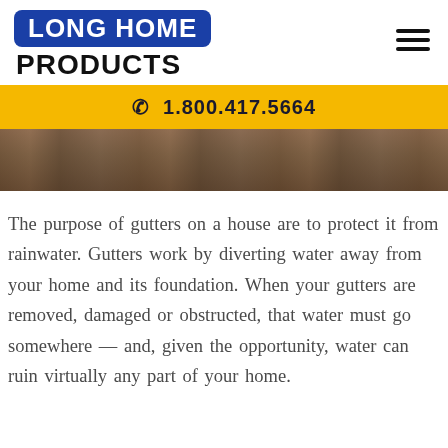[Figure (logo): Long Home Products logo: blue rounded rectangle with white bold uppercase text 'LONG HOME' above black bold uppercase text 'PRODUCTS']
☎ 1.800.417.5664
[Figure (photo): A photo strip showing rain falling near a house with wooden siding and gutters, dark and moody outdoor scene]
The purpose of gutters on a house are to protect it from rainwater. Gutters work by diverting water away from your home and its foundation. When your gutters are removed, damaged or obstructed, that water must go somewhere — and, given the opportunity, water can ruin virtually any part of your home.